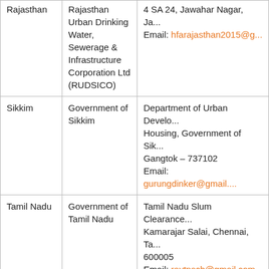| State | Nodal Agency | Contact Details |
| --- | --- | --- |
| Rajasthan | Rajasthan Urban Drinking Water, Sewerage & Infrastructure Corporation Ltd (RUDSICO) | 4 SA 24, Jawahar Nagar, Ja...
Email: hfarajasthan2015@g... |
| Sikkim | Government of Sikkim | Department of Urban Develo...
Housing, Government of Sik...
Gangtok – 737102
Email: gurungdinker@gmail.... |
| Tamil Nadu | Government of Tamil Nadu | Tamil Nadu Slum Clearance...
Kamarajar Salai, Chennai, Ta...
600005
Email: raytnscb@gmail.com |
| ...gana (Telangana) | Government of Telangana | Commissioner and ...
Administration, 3rd ...
Health, Lakdikapool, Hydera...
Email: tamonma@gmail.com... |